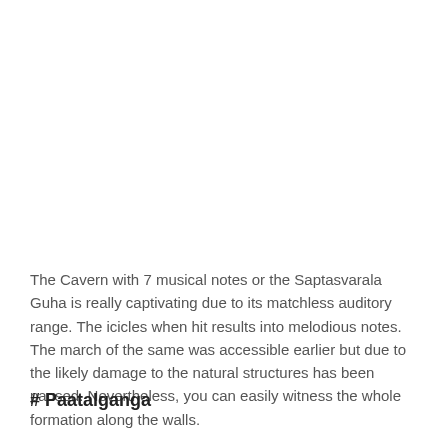The Cavern with 7 musical notes or the Saptasvarala Guha is really captivating due to its matchless auditory range. The icicles when hit results into melodious notes. The march of the same was accessible earlier but due to the likely damage to the natural structures has been paused. Nevertheless, you can easily witness the whole formation along the walls.
# Paatalganga